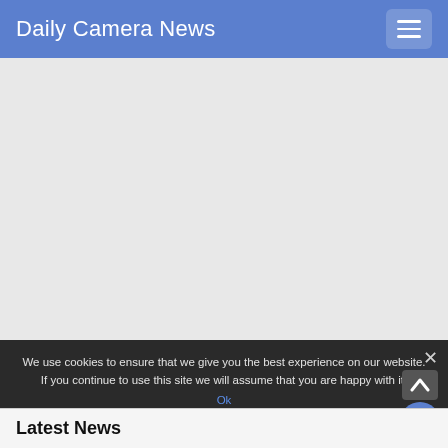Daily Camera News
[Figure (screenshot): Gray content/ad placeholder area below header]
We use cookies to ensure that we give you the best experience on our website. If you continue to use this site we will assume that you are happy with it.
Latest News